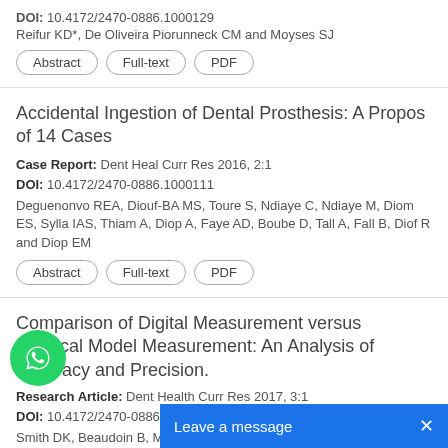DOI: 10.4172/2470-0886.1000129
Reifur KD*, De Oliveira Piorunneck CM and Moyses SJ
Abstract | Full-text | PDF
Accidental Ingestion of Dental Prosthesis: A Propos of 14 Cases
Case Report: Dent Heal Curr Res 2016, 2:1
DOI: 10.4172/2470-0886.1000111
Deguenonvo REA, Diouf-BA MS, Toure S, Ndiaye C, Ndiaye M, Diom ES, Sylla IAS, Thiam A, Diop A, Faye AD, Boube D, Tall A, Fall B, Diof R and Diop EM
Abstract | Full-text | PDF
Comparison of Digital Measurement versus Physical Model Measurement: An Analysis of Accuracy and Precision.
Research Article: Dent Health Curr Res 2017, 3:1
DOI: 10.4172/2470-0886.1000124
Smith DK, Beaudoin B, Messersmith...
Abstract | Full-text | PDF